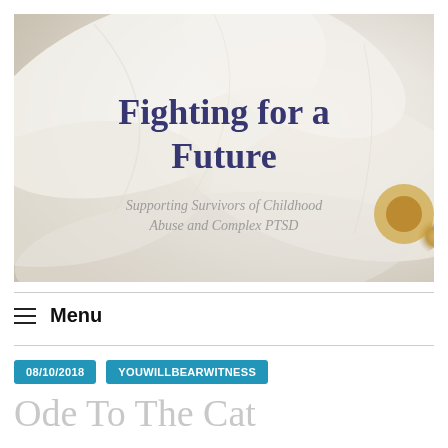[Figure (illustration): Website banner header image showing white flower petals in soft focus with the blog title 'Fighting for a Future' in dark navy serif text and subtitle 'Supporting Survivors of Childhood Abuse and Complex PTSD' in gray italic text overlaid on the image.]
≡ Menu
08/10/2018
YOUWILLBEARWITNESS
Ode To The Cat